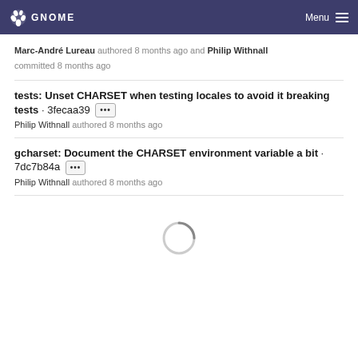GNOME  Menu
Marc-André Lureau authored 8 months ago and Philip Withnall committed 8 months ago
tests: Unset CHARSET when testing locales to avoid it breaking tests · 3fecaa39 ••• Philip Withnall authored 8 months ago
gcharset: Document the CHARSET environment variable a bit · 7dc7b84a ••• Philip Withnall authored 8 months ago
[Figure (other): Loading spinner circle indicator]